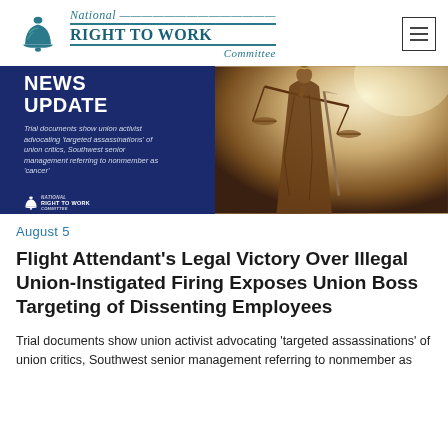National RIGHT TO WORK Committee
[Figure (screenshot): News Update banner image showing dark navy left panel with 'NEWS UPDATE' text and subtitle about trial documents showing union activist advocating targeted assassinations, with Lady Justice statue on right side]
August 5
Flight Attendant's Legal Victory Over Illegal Union-Instigated Firing Exposes Union Boss Targeting of Dissenting Employees
Trial documents show union activist advocating 'targeted assassinations' of union critics, Southwest senior management referring to nonmember as